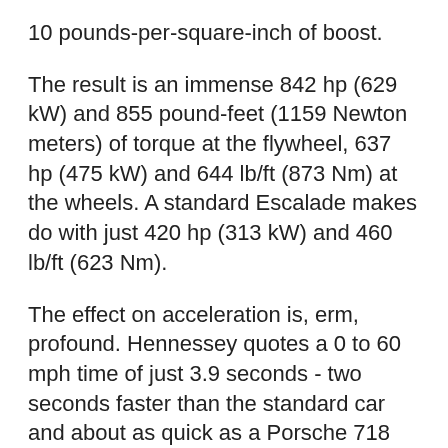10 pounds-per-square-inch of boost.
The result is an immense 842 hp (629 kW) and 855 pound-feet (1159 Newton meters) of torque at the flywheel, 637 hp (475 kW) and 644 lb/ft (873 Nm) at the wheels. A standard Escalade makes do with just 420 hp (313 kW) and 460 lb/ft (623 Nm).
The effect on acceleration is, erm, profound. Hennessey quotes a 0 to 60 mph time of just 3.9 seconds - two seconds faster than the standard car and about as quick as a Porsche 718 Cayman S. The quarter-mile sprint is dispatched in 12.3 seconds at 112 mph.
As you can see in the video above, an Escalade